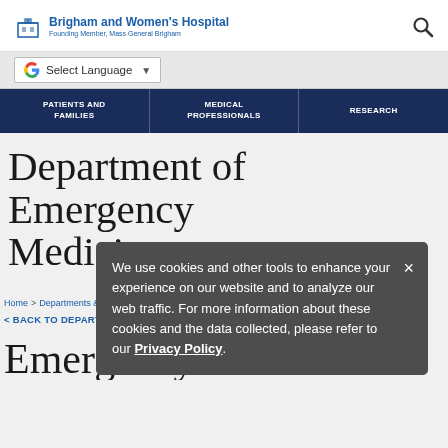Brigham and Women's Hospital — Founding Member, Mass General Brigham
Select Language
PATIENTS AND FAMILIES | MEDICAL PROFESSIONALS | RESEARCH
Department of Emergency Medicine
Home > Departments & Services > Emergency Medicine
< BACK TO DEPARTMENTS & SERVICES
Emergency Medicine
We use cookies and other tools to enhance your experience on our website and to analyze our web traffic. For more information about these cookies and the data collected, please refer to our Privacy Policy.